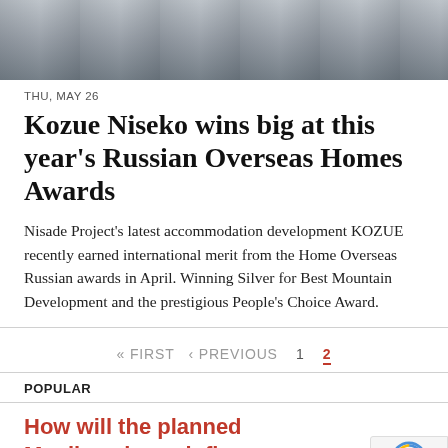[Figure (photo): Snowy winter landscape photograph shown as a horizontal strip at the top of the page]
THU, MAY 26
Kozue Niseko wins big at this year's Russian Overseas Homes Awards
Nisade Project's latest accommodation development KOZUE recently earned international merit from the Home Overseas Russian awards in April. Winning Silver for Best Mountain Development and the prestigious People's Choice Award.
« FIRST  ‹ PREVIOUS  1  2
POPULAR
How will the planned Manila subway influence land and property prices?